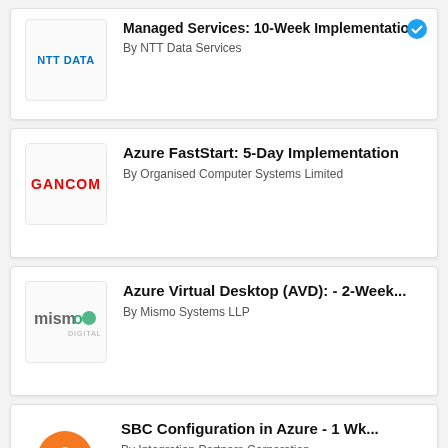Managed Services: 10-Week Implementation – By NTT Data Services
Azure FastStart: 5-Day Implementation – By Organised Computer Systems Limited
Azure Virtual Desktop (AVD): - 2-Week... – By Mismo Systems LLP
SBC Configuration in Azure - 1 Wk... – By Integration Partners Corporation
Il tuo gestionale su Azure: 10-days...